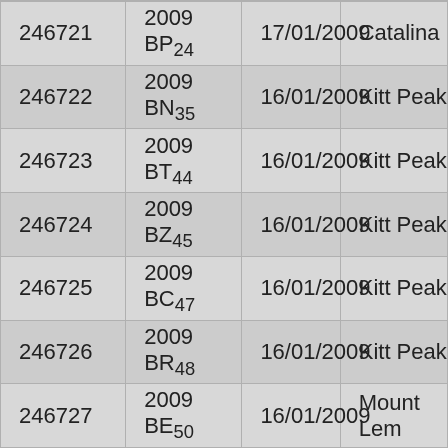|  |  |  |  |
| --- | --- | --- | --- |
| 246721 | 2009 BP₂₄ | 17/01/2009 | Catalina |
| 246722 | 2009 BN₃₅ | 16/01/2009 | Kitt Peak |
| 246723 | 2009 BT₄₄ | 16/01/2009 | Kitt Peak |
| 246724 | 2009 BZ₄₅ | 16/01/2009 | Kitt Peak |
| 246725 | 2009 BC₄₇ | 16/01/2009 | Kitt Peak |
| 246726 | 2009 BR₄₈ | 16/01/2009 | Kitt Peak |
| 246727 | 2009 BE₅₀ | 16/01/2009 | Mount Lemmon |